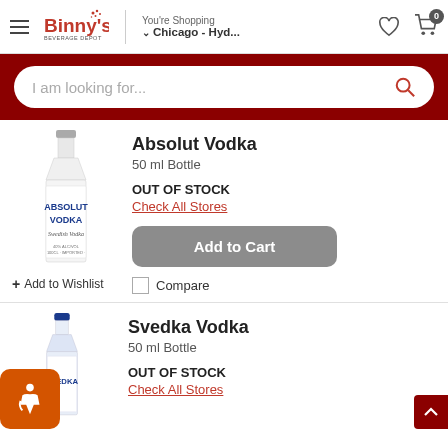Binny's Beverage Depot — You're Shopping Chicago - Hyd...
I am looking for...
Absolut Vodka
50 ml Bottle
OUT OF STOCK
Check All Stores
Add to Cart
+ Add to Wishlist
Compare
Svedka Vodka
50 ml Bottle
OUT OF STOCK
Check All Stores